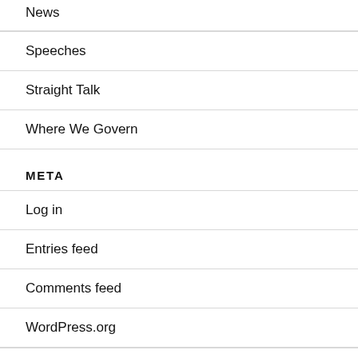News
Speeches
Straight Talk
Where We Govern
META
Log in
Entries feed
Comments feed
WordPress.org